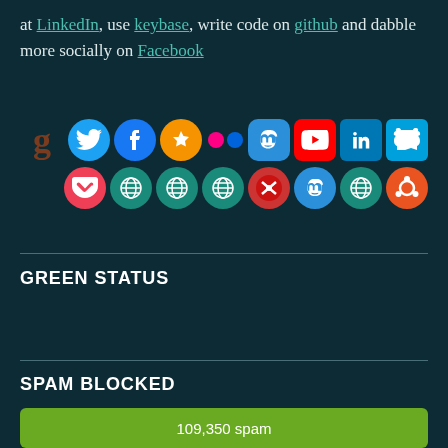at LinkedIn, use keybase, write code on github and dabble more socially on Facebook
[Figure (infographic): Row of social media icons: Goodreads, Twitter, Facebook, Micro.blog, Flickr, Mastodon, YouTube, LinkedIn, Slideshare in top row; Pocket, web globe, web globe, web globe, Keybase, Mastodon, web globe, Ubuntu in bottom row]
GREEN STATUS
SPAM BLOCKED
[Figure (infographic): Green bar showing 109,350 spam blocked]